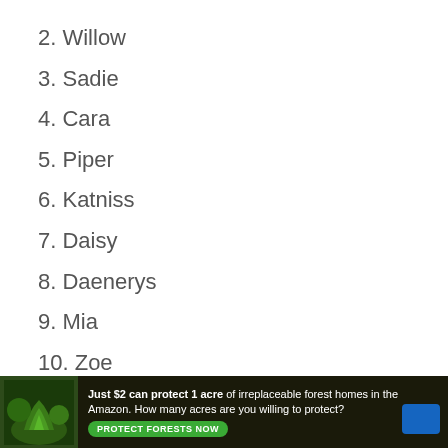2. Willow
3. Sadie
4. Cara
5. Piper
6. Katniss
7. Daisy
8. Daenerys
9. Mia
10. Zoe
11. Lola
12. Zelda
13. Chloe
[Figure (infographic): Advertisement banner: forest/Amazon conservation ad. Text: 'Just $2 can protect 1 acre of irreplaceable forest homes in the Amazon. How many acres are you willing to protect?' with a green 'PROTECT FORESTS NOW' button.]